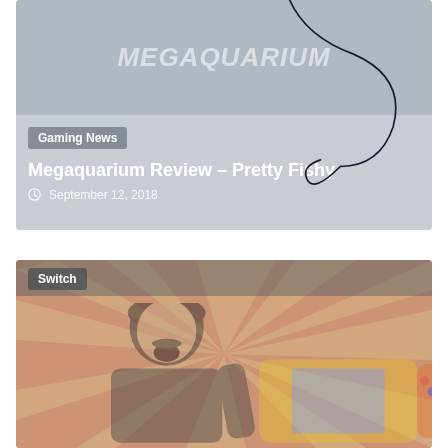[Figure (illustration): Top card showing Megaquarium game title text faded in header image area with light grey card background]
Gaming News
Megaquarium Review – Pretty Fishy
September 12, 2018
[Figure (illustration): Bottom card with Switch tag label and photo of excited man holding a Nintendo Switch console with yellow/red sunburst background, partially visible]
Switch